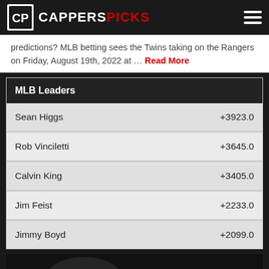CappersPicks
predictions? MLB betting sees the Twins taking on the Rangers on Friday, August 19th, 2022 at ... Read More
| MLB Leaders |  |
| --- | --- |
| Sean Higgs | +3923.0 |
| Rob Vinciletti | +3645.0 |
| Calvin King | +3405.0 |
| Jim Feist | +2233.0 |
| Jimmy Boyd | +2099.0 |
[Figure (photo): Dark background promotional image partially visible at the bottom of the page]
SPORTSBOOK BONUS CODES